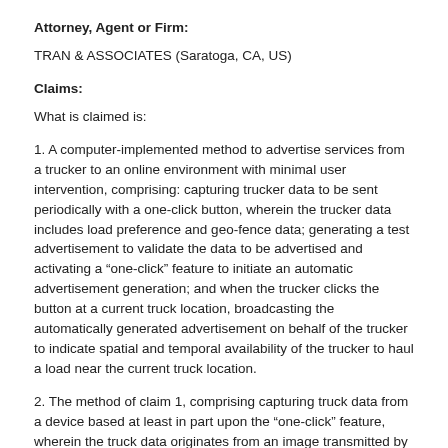Attorney, Agent or Firm:
TRAN & ASSOCIATES (Saratoga, CA, US)
Claims:
What is claimed is:
1. A computer-implemented method to advertise services from a trucker to an online environment with minimal user intervention, comprising: capturing trucker data to be sent periodically with a one-click button, wherein the trucker data includes load preference and geo-fence data; generating a test advertisement to validate the data to be advertised and activating a “one-click” feature to initiate an automatic advertisement generation; and when the trucker clicks the button at a current truck location, broadcasting the automatically generated advertisement on behalf of the trucker to indicate spatial and temporal availability of the trucker to haul a load near the current truck location.
2. The method of claim 1, comprising capturing truck data from a device based at least in part upon the “one-click” feature, wherein the truck data originates from an image transmitted by a user from an auxiliary device to the device; performing pattern recognition on the truck data to extract descriptive data from the image; creating an advertisement for the captured